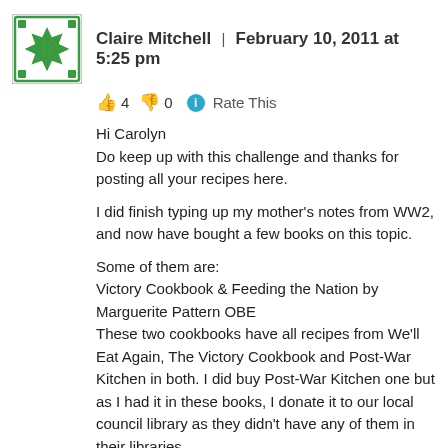Claire Mitchell | February 10, 2011 at 5:25 pm
👍 4 👎 0 ℹ Rate This
Hi Carolyn
Do keep up with this challenge and thanks for posting all your recipes here.

I did finish typing up my mother's notes from WW2, and now have bought a few books on this topic.

Some of them are:
Victory Cookbook & Feeding the Nation by Marguerite Pattern OBE
These two cookbooks have all recipes from We'll Eat Again, The Victory Cookbook and Post-War Kitchen in both. I did buy Post-War Kitchen one but as I had it in these books, I donate it to our local council library as they didn't have any of them in their libraries.

Eating for Victory and Make Do and Mend
Which are reproductions of official Second World War instruction leaflets.